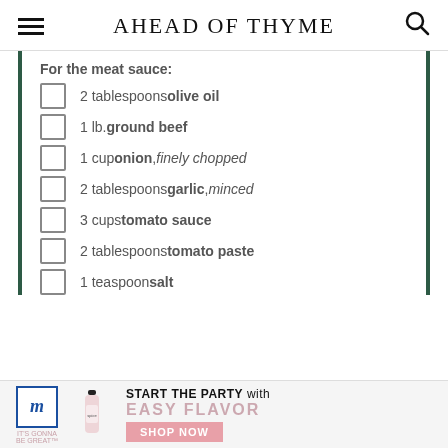AHEAD OF THYME
For the meat sauce:
2 tablespoons olive oil
1 lb. ground beef
1 cup onion, finely chopped
2 tablespoons garlic, minced
3 cups tomato sauce
2 tablespoons tomato paste
1 teaspoon salt
[Figure (photo): Advertisement banner for McCormick spices: 'START THE PARTY with EASY FLAVOR - SHOP NOW']